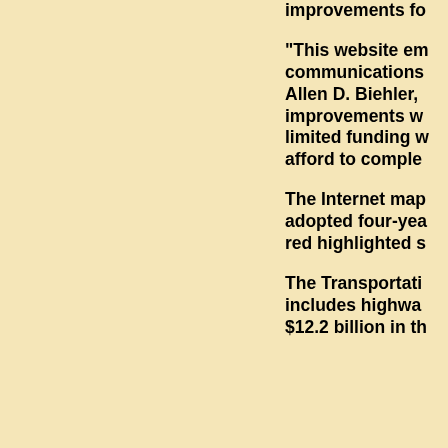improvements fo
“This website em communications Allen D. Biehler, improvements w limited funding w afford to comple
The Internet map adopted four-yea red highlighted s
The Transportati includes highwa $12.2 billion in th